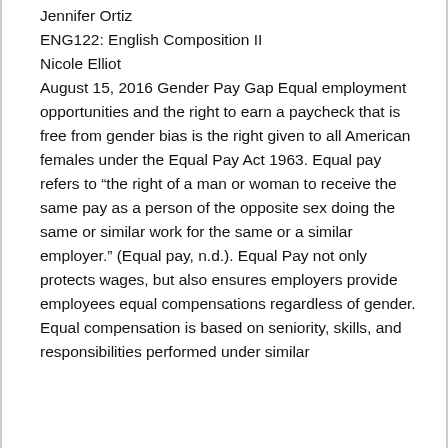Jennifer Ortiz
ENG122: English Composition II
Nicole Elliot
August 15, 2016 Gender Pay Gap Equal employment opportunities and the right to earn a paycheck that is free from gender bias is the right given to all American females under the Equal Pay Act 1963. Equal pay refers to “the right of a man or woman to receive the same pay as a person of the opposite sex doing the same or similar work for the same or a similar employer.” (Equal pay, n.d.). Equal Pay not only protects wages, but also ensures employers provide employees equal compensations regardless of gender. Equal compensation is based on seniority, skills, and responsibilities performed under similar